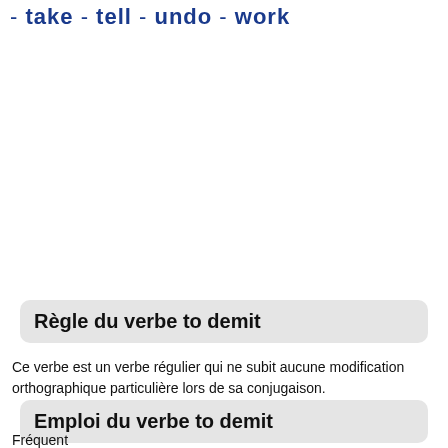- take - tell - undo - work
Règle du verbe to demit
Ce verbe est un verbe régulier qui ne subit aucune modification orthographique particulière lors de sa conjugaison.
Emploi du verbe to demit
Fréquent